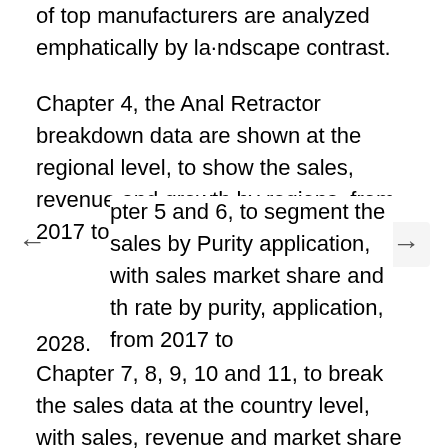of top manufacturers are analyzed emphatically by la·ndscape contrast.
Chapter 4, the Anal Retractor breakdown data are shown at the regional level, to show the sales, revenue and growth by regions, from 2017 to 2028.
pter 5 and 6, to segment the sales by Purity application, with sales market share and th rate by purity, application, from 2017 to 2028.
Chapter 7, 8, 9, 10 and 11, to break the sales data at the country level, with sales, revenue and market share for key countries in the world, from 2017 to 2022.and Anal Retractor market forecast, by regions, purity and application, with sales and revenue, from 2023 to 2028.